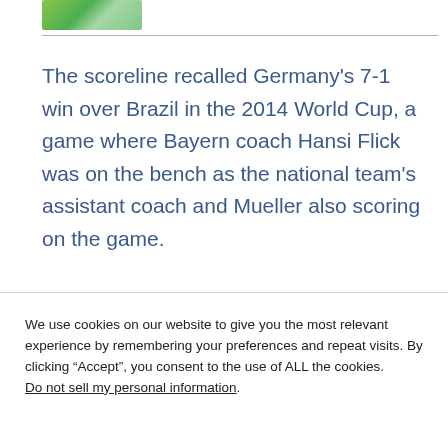[Figure (photo): Partial image of a soccer/football scene on green grass at the top of the page]
The scoreline recalled Germany's 7-1 win over Brazil in the 2014 World Cup, a game where Bayern coach Hansi Flick was on the bench as the national team's assistant coach and Mueller also scoring on the game.
We use cookies on our website to give you the most relevant experience by remembering your preferences and repeat visits. By clicking “Accept”, you consent to the use of ALL the cookies.
Do not sell my personal information.
Cookie settings
ACCEPT